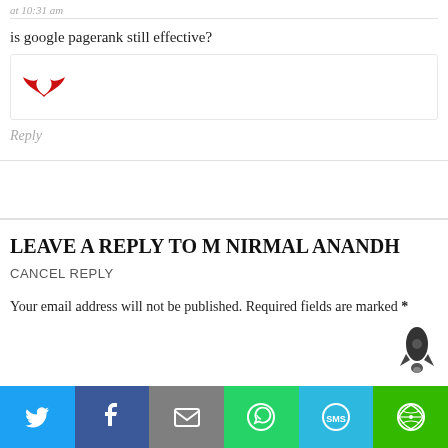at 10:31 am
is google pagerank still effective?
[Figure (logo): Red wing/bird icon avatar]
Reply
LEAVE A REPLY TO M NIRMAL ANANDH CANCEL REPLY
Your email address will not be published. Required fields are marked *
[Figure (illustration): Rocket ship icon]
[Figure (infographic): Social sharing bar with Twitter, Facebook, Email, WhatsApp, SMS, More buttons]